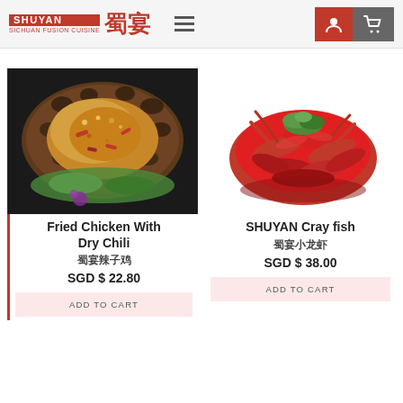SHUYAN 蜀宴 SICHUAN FUSION CUISINE — navigation header with hamburger menu, user icon, and cart icon
[Figure (photo): Fried chicken with dry chili served in a woven basket with lettuce garnish]
Fried Chicken With Dry Chili
蜀宴辣子鸡
SGD $ 22.80
ADD TO CART
[Figure (photo): SHUYAN Crayfish - pile of red crayfish with green herb garnish on white background]
SHUYAN Crayfish
蜀宴小龙虾
SGD $ 38.00
ADD TO CART